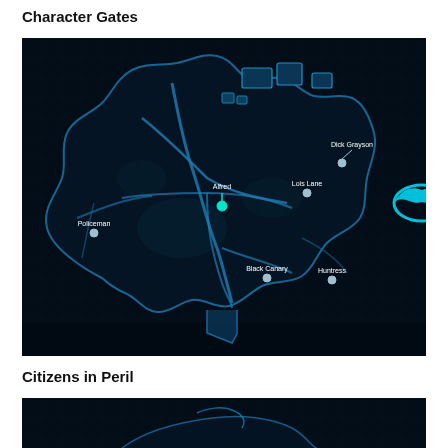Character Gates
[Figure (map): Blue holographic-style game map showing Gotham city layout with character gate markers labeled: Dick Grayson, Lois Lane, Alfred, Policeman, Black Canary, Huntress. A Batman logo symbol is partially visible on the right edge.]
Citizens in Peril
[Figure (map): Partial view of a similar blue holographic game map, cropped at the bottom of the page.]